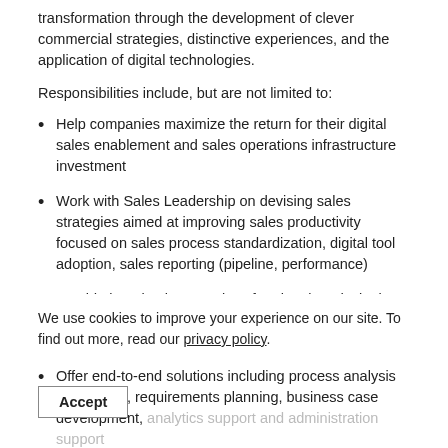transformation through the development of clever commercial strategies, distinctive experiences, and the application of digital technologies.
Responsibilities include, but are not limited to:
Help companies maximize the return for their digital sales enablement and sales operations infrastructure investment
Work with Sales Leadership on devising sales strategies aimed at improving sales productivity focused on sales process standardization, digital tool adoption, sales reporting (pipeline, performance)
Provide best-in-class services for planning, designing, deploying, and supporting digital sales technology tools
Offer end-to-end solutions including process analysis and design, requirements planning, business case development, analytics support and administration support
Act in a mentoring capacity to support the career development of other colleagues
Responsible for business development efforts, including Statements of Work (SOW), proposal development, client presentations, etc.
We use cookies to improve your experience on our site. To find out more, read our privacy policy.